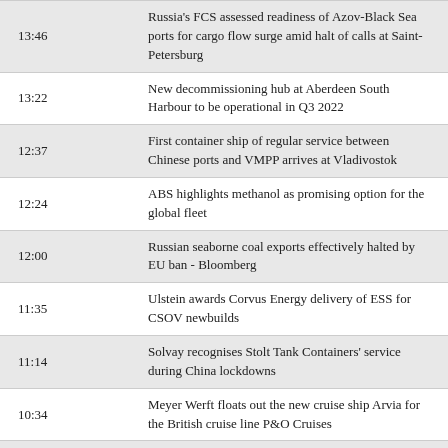| Time | Headline |
| --- | --- |
| 13:46 | Russia's FCS assessed readiness of Azov-Black Sea ports for cargo flow surge amid halt of calls at Saint-Petersburg |
| 13:22 | New decommissioning hub at Aberdeen South Harbour to be operational in Q3 2022 |
| 12:37 | First container ship of regular service between Chinese ports and VMPP arrives at Vladivostok |
| 12:24 | ABS highlights methanol as promising option for the global fleet |
| 12:00 | Russian seaborne coal exports effectively halted by EU ban - Bloomberg |
| 11:35 | Ulstein awards Corvus Energy delivery of ESS for CSOV newbuilds |
| 11:14 | Solvay recognises Stolt Tank Containers' service during China lockdowns |
| 10:34 | Meyer Werft floats out the new cruise ship Arvia for the British cruise line P&O Cruises |
| 10:13 | Storylines and Brodosplit Shipyard sign shipbuilding contract |
| 09:50 | Russia's Far East basin suffers acute shortage of refrigerating facilities – Eastern State Planning Center |
| 09:23 | Crude oil futures exceed $100 a barrel amid talks about OPEC cuts |